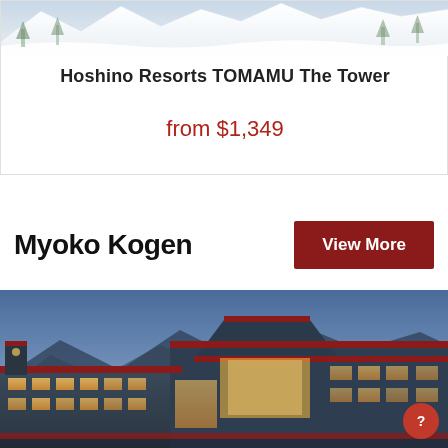[Figure (photo): Snow-covered mountain scene at top of card]
Hoshino Resorts TOMAMU The Tower
from $1,349
Myoko Kogen
View More
[Figure (photo): Hotel building at dusk with mountains in background, warm interior lights visible, red roof trim]